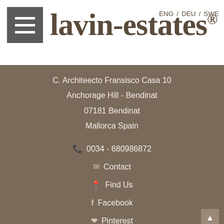lavin-estates®
ENG / DEU / SWE
C. Architeecto Fransisco Casa 10
Anchorage Hill - Bendinat
07181 Bendinat
Mallorca Spain
0034 - 680986872
Contact
Find Us
Facebook
Pinterest
Sold Properties
Property Search
Company